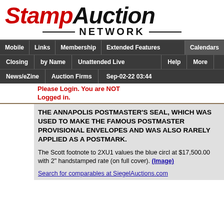[Figure (logo): StampAuction Network logo with red italic Stamp, black italic Auction, and NETWORK in bold capitals with horizontal rules]
Mobile | Links | Membership | Extended Features | Calendars | Closing | by Name | Unattended Live | Help | More | News/eZine | Auction Firms | Sep-02-22 03:44
Please Login. You are NOT Logged in.
THE ANNAPOLIS POSTMASTER'S SEAL, WHICH WAS USED TO MAKE THE FAMOUS POSTMASTER PROVISIONAL ENVELOPES AND WAS ALSO RARELY APPLIED AS A POSTMARK.
The Scott footnote to 2XU1 values the blue circl at $17,500.00 with 2" handstamped rate (on full cover). (Image)
Search for comparables at SiegelAuctions.com